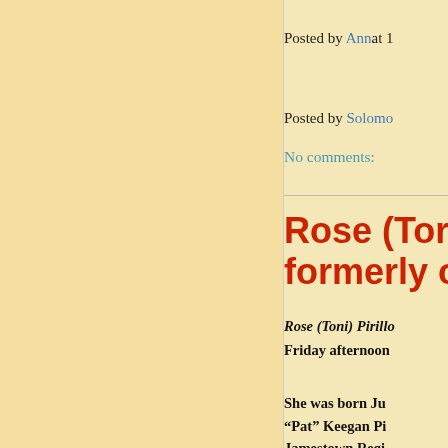Posted by Anna at 1
Posted by Solomo
No comments:
Rose (Ton formerly o
Rose (Toni) Pirillo
Friday afternoon
She was born Ju
"Pat" Keegan Pi
Jamestown Regi